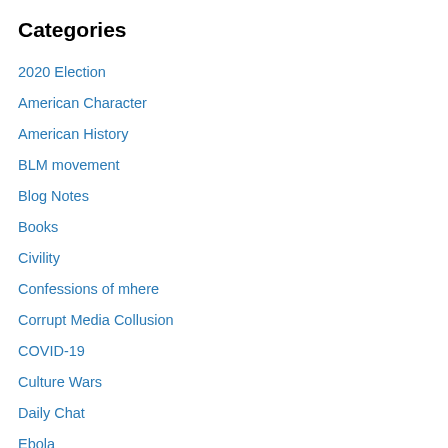Categories
2020 Election
American Character
American History
BLM movement
Blog Notes
Books
Civility
Confessions of mhere
Corrupt Media Collusion
COVID-19
Culture Wars
Daily Chat
Ebola
Education
Emergency Preparedness
Food for Thought
Foreign Policy
Gardening